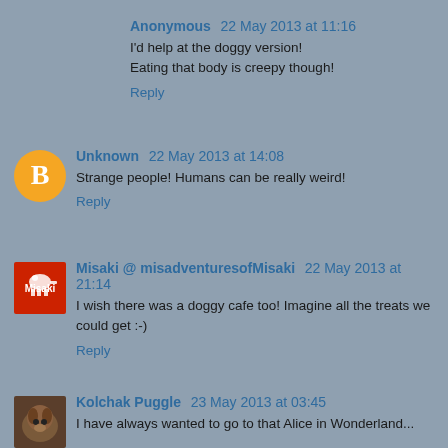Anonymous 22 May 2013 at 11:16
I'd help at the doggy version!
Eating that body is creepy though!
Reply
Unknown 22 May 2013 at 14:08
Strange people! Humans can be really weird!
Reply
Misaki @ misadventuresofMisaki 22 May 2013 at 21:14
I wish there was a doggy cafe too! Imagine all the treats we could get :-)
Reply
Kolchak Puggle 23 May 2013 at 03:45
I have always wanted to go to that Alice in Wonderland...